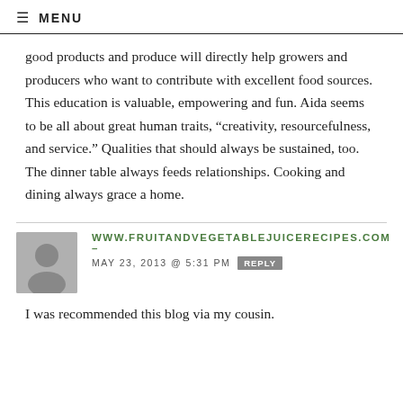≡ MENU
good products and produce will directly help growers and producers who want to contribute with excellent food sources. This education is valuable, empowering and fun. Aida seems to be all about great human traits, “creativity, resourcefulness, and service.” Qualities that should always be sustained, too. The dinner table always feeds relationships. Cooking and dining always grace a home.
WWW.FRUITANDVEGETABLEJUICERECIPES.COM – MAY 23, 2013 @ 5:31 PM REPLY
I was recommended this blog via my cousin.